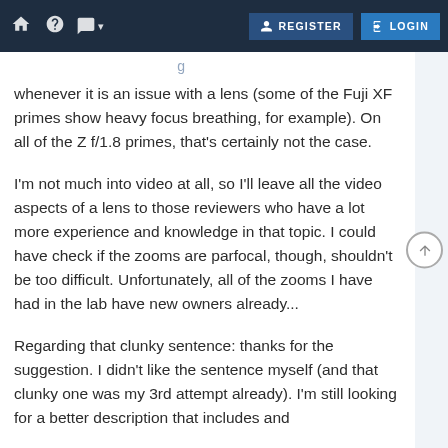REGISTER  LOGIN
whenever it is an issue with a lens (some of the Fuji XF primes show heavy focus breathing, for example). On all of the Z f/1.8 primes, that's certainly not the case.
I'm not much into video at all, so I'll leave all the video aspects of a lens to those reviewers who have a lot more experience and knowledge in that topic. I could have check if the zooms are parfocal, though, shouldn't be too difficult. Unfortunately, all of the zooms I have had in the lab have new owners already...
Regarding that clunky sentence: thanks for the suggestion. I didn't like the sentence myself (and that clunky one was my 3rd attempt already). I'm still looking for a better description that includes and